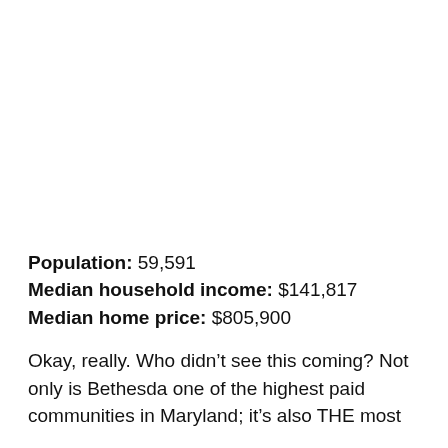Population: 59,591
Median household income: $141,817
Median home price: $805,900
Okay, really. Who didn’t see this coming? Not only is Bethesda one of the highest paid communities in Maryland; it’s also THE most